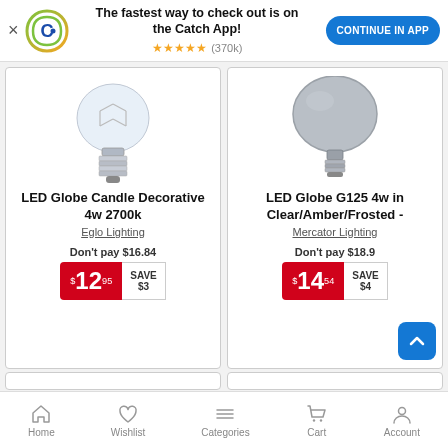[Figure (screenshot): Catch app promotional banner with logo, headline, star rating, and continue button]
[Figure (photo): LED Globe Candle Decorative light bulb with E27 screw base, clear glass]
LED Globe Candle Decorative 4w 2700k
Eglo Lighting
Don't pay $16.84
$12.95 SAVE $3
[Figure (photo): LED Globe G125 4w in large round globe shape with small screw base, grey/smoked glass]
LED Globe G125 4w in Clear/Amber/Frosted -
Mercator Lighting
Don't pay $18.9
$14.54 SAVE $4
Home  Wishlist  Categories  Cart  Account